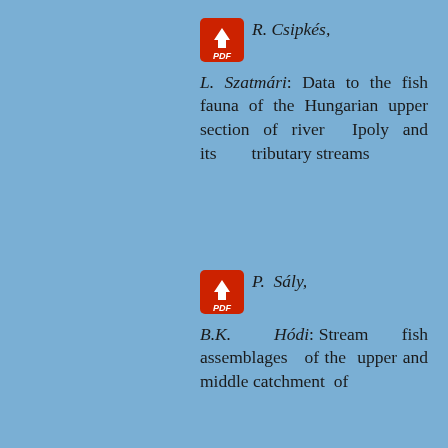[Figure (logo): Red PDF download icon with white downward arrow and 'PDF' text]
R. Csipkés, L. Szatmári: Data to the fish fauna of the Hungarian upper section of river Ipoly and its tributary streams
[Figure (logo): Red PDF download icon with white downward arrow and 'PDF' text]
P. Sály, B.K. Hódi: Stream fish assemblages of the upper and middle catchment of